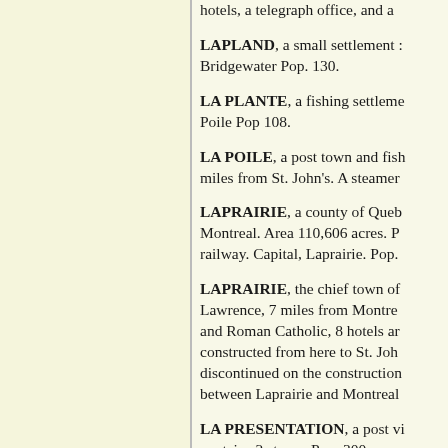hotels, a telegraph office, and a
LAPLAND, a small settlement ... Bridgewater Pop. 130.
LA PLANTE, a fishing settlement ... Poile Pop 108.
LA POILE, a post town and fish ... miles from St. John's. A steamer
LAPRAIRIE, a county of Queb ... Montreal. Area 110,606 acres. P ... railway. Capital, Laprairie. Pop.
LAPRAIRIE, the chief town of ... Lawrence, 7 miles from Montre ... and Roman Catholic, 8 hotels ar ... constructed from here to St. Joh ... discontinued on the construction ... between Laprairie and Montreal
LA PRESENTATION, a post vi ... contains 2 stores. Pop. 300.
LAPUM, a post office in Fronts